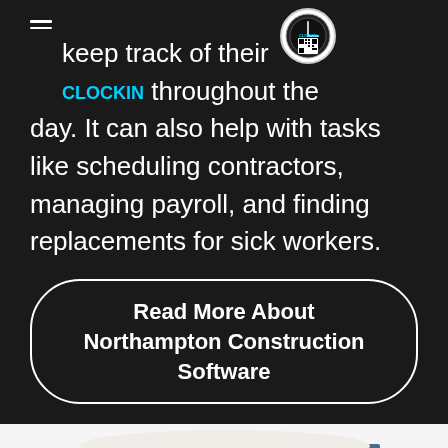Clockin can be used to clock in workers and keep track of their activities throughout the day. It can also help with tasks like scheduling contractors, managing payroll, and finding replacements for sick workers.
Read More About Northampton Construction Software
[Figure (photo): A woman slumped over a desk with a large stack of files, folders, and papers piled on top of her head, appearing overwhelmed by paperwork.]